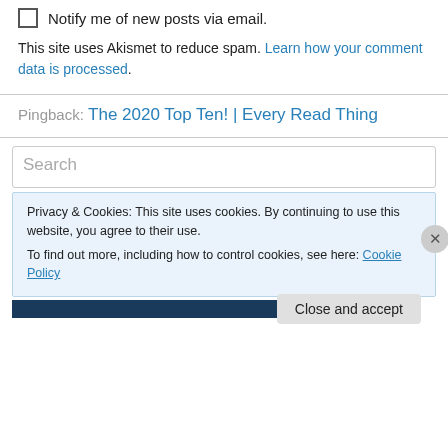Notify me of new posts via email.
This site uses Akismet to reduce spam. Learn how your comment data is processed.
Pingback: The 2020 Top Ten! | Every Read Thing
Search
Privacy & Cookies: This site uses cookies. By continuing to use this website, you agree to their use.
To find out more, including how to control cookies, see here: Cookie Policy
Close and accept